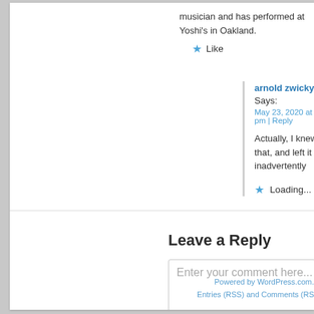musician and has performed at Yoshi's in Oakland.
★ Like
arnold zwicky Says: May 23, 2020 at 2:32 pm | Reply
Actually, I knew that, and left it out inadvertently
★ Loading...
Leave a Reply
Enter your comment here...
Powered by WordPress.com. Entries (RSS) and Comments (RS